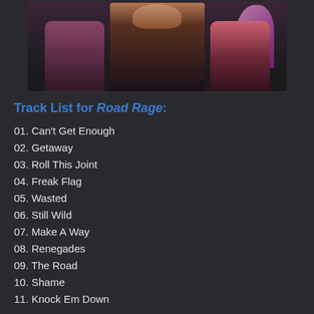[Figure (photo): Photo of what appears to be three rock band members posing against a pink/purple background, wearing dark clothing]
Track List for Road Rage:
01. Can't Get Enough
02. Getaway
03. Roll This Joint
04. Freak Flag
05. Wasted
06. Still Wild
07. Make A Way
08. Renegades
09. The Road
10. Shame
11. Knock Em Down